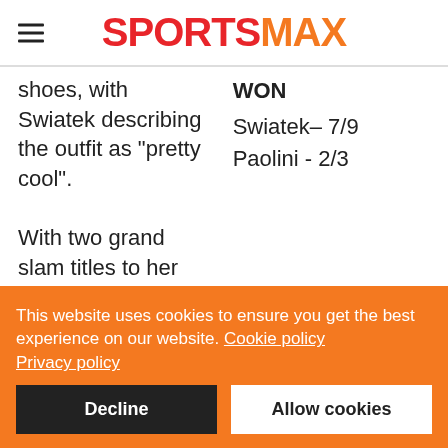SPORTSMAX
shoes, with Swiatek describing the outfit as "pretty cool".
WON
Swiatek– 7/9
Paolini - 2/3
With two grand slam titles to her name, the 21-year-old Swiatek is
This website uses cookies to ensure you get the best experience on our website. Cookie policy
Privacy policy